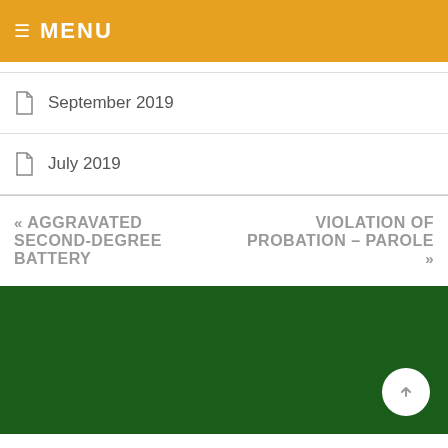≡ MENU
September 2019
July 2019
« AGGRAVATED SECOND-DEGREE BATTERY
VIOLATION OF PROBATION – PAROLE »